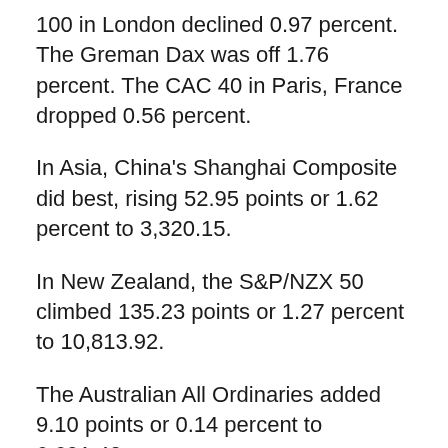100 in London declined 0.97 percent. The Greman Dax was off 1.76 percent. The CAC 40 in Paris, France dropped 0.56 percent.
In Asia, China's Shanghai Composite did best, rising 52.95 points or 1.62 percent to 3,320.15.
In New Zealand, the S&P/NZX 50 climbed 135.23 points or 1.27 percent to 10,813.92.
The Australian All Ordinaries added 9.10 points or 0.14 percent to 6,691.40.
The Hang Seng in Hong Kong added...